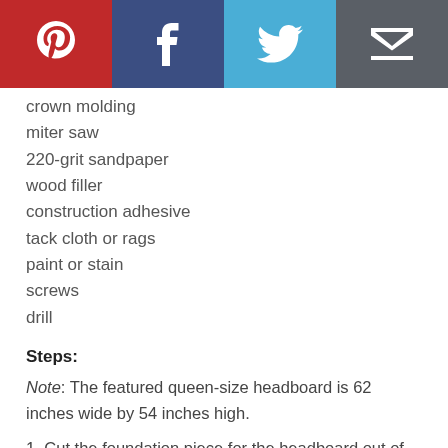[Figure (other): Social sharing bar with Pinterest, Facebook, Twitter, and Email icons]
crown molding
miter saw
220-grit sandpaper
wood filler
construction adhesive
tack cloth or rags
paint or stain
screws
drill
Steps:
Note: The featured queen-size headboard is 62 inches wide by 54 inches high.
1. Cut the foundation piece for the headboard out of birch plywood and lay it flat on a work surface. Use wood glue and finish nails to attach two 1x3s perpendicular to each other to each side, creating fake legs.